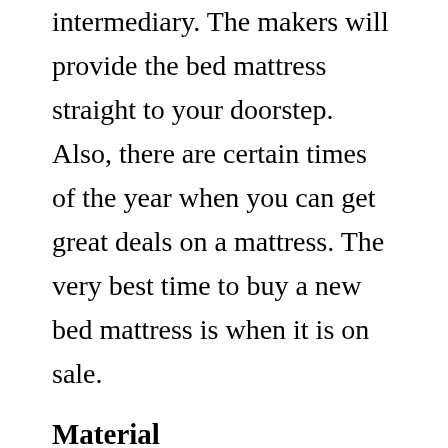intermediary. The makers will provide the bed mattress straight to your doorstep. Also, there are certain times of the year when you can get great deals on a mattress. The very best time to buy a new bed mattress is when it is on sale.
Material
The contents of a bed mattress are primarily divided into three primary types. The very first type is the traditional mattress, which is made from an upholstery layer wrapped in a thick fabric called ticking. The upholstery layer supplies cushioning, and